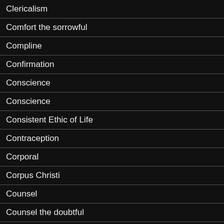Clericalism
Comfort the sorrowful
Compline
Confirmation
Conscience
Conscience
Consistent Ethic of Life
Contraception
Corporal
Corpus Christi
Counsel
Counsel the doubtful
Credentials